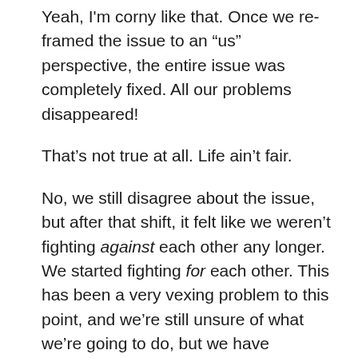Yeah, I'm corny like that. Once we re-framed the issue to an “us” perspective, the entire issue was completely fixed. All our problems disappeared!
That’s not true at all. Life ain’t fair.
No, we still disagree about the issue, but after that shift, it felt like we weren’t fighting against each other any longer. We started fighting for each other. This has been a very vexing problem to this point, and we’re still unsure of what we’re going to do, but we have confidence in each other that we can find a solution together. That feeling – the harmony felt when you’re on the same page with another person – I feel it again, even though we disagree. We’re in the trenches together, on the same side of the field. We still have to